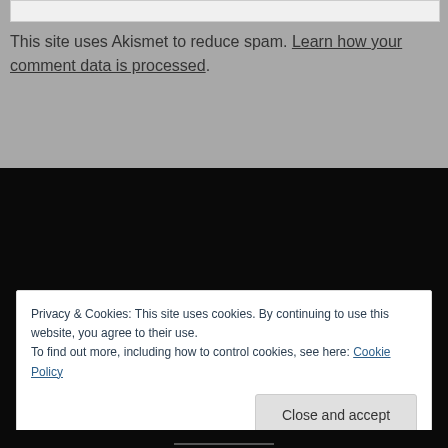This site uses Akismet to reduce spam. Learn how your comment data is processed.
SEARCH
Privacy & Cookies: This site uses cookies. By continuing to use this website, you agree to their use. To find out more, including how to control cookies, see here: Cookie Policy